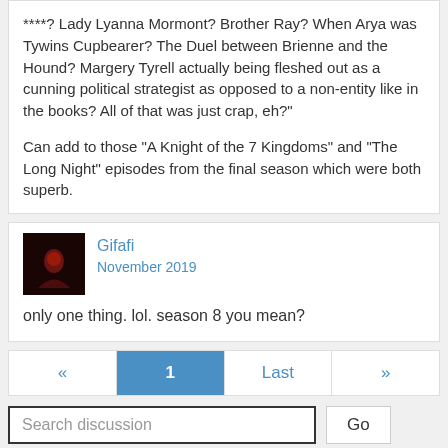****? Lady Lyanna Mormont? Brother Ray? When Arya was Tywins Cupbearer? The Duel between Brienne and the Hound? Margery Tyrell actually being fleshed out as a cunning political strategist as opposed to a non-entity like in the books? All of that was just crap, eh?"

Can add to those "A Knight of the 7 Kingdoms" and "The Long Night" episodes from the final season which were both superb.
Gifafi
November 2019
only one thing. lol. season 8 you mean?
« 1 Last »
Search discussion   Go
Sign In or Register to comment.